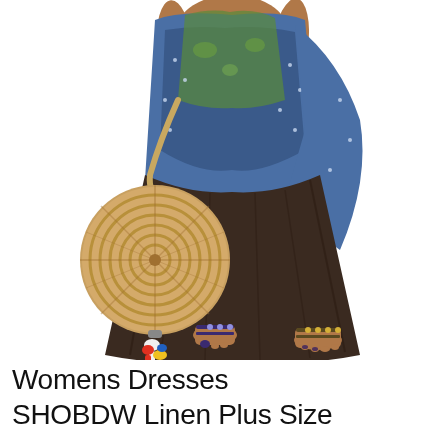[Figure (photo): A woman wearing a boho-style layered maxi dress with blue and green floral print top layer and dark brown/charcoal bottom skirt, holding a round woven straw bag with colorful tassels. She wears bejeweled sandals and bracelets. Only the body from mid-torso down to feet is visible, on a white background.]
Womens Dresses SHOBDW Linen Plus Size